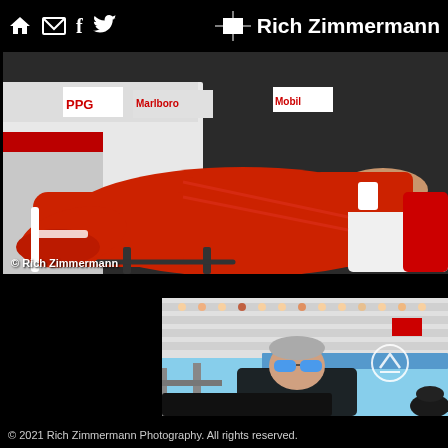Rich Zimmermann — navigation header with home, email, facebook, twitter/bird icons and brand logo
[Figure (photo): Close-up photo of a racing driver in red firesuit with legs crossed, resting on equipment. Marlboro and PPG team branding visible in background. Watermark: © Rich Zimmermann]
[Figure (photo): Photo of a man with blue sunglasses at a racing event, grandstands with spectators visible in background. Circular back-to-top arrow button overlaid.]
© 2021 Rich Zimmermann Photography. All rights reserved.